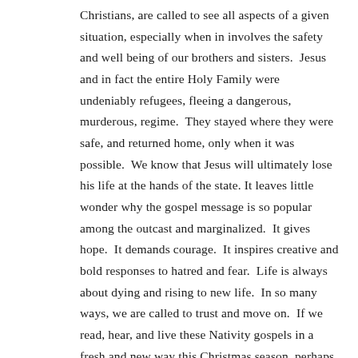Christians, are called to see all aspects of a given situation, especially when in involves the safety and well being of our brothers and sisters. Jesus and in fact the entire Holy Family were undeniably refugees, fleeing a dangerous, murderous, regime. They stayed where they were safe, and returned home, only when it was possible. We know that Jesus will ultimately lose his life at the hands of the state. It leaves little wonder why the gospel message is so popular among the outcast and marginalized. It gives hope. It demands courage. It inspires creative and bold responses to hatred and fear. Life is always about dying and rising to new life. In so many ways, we are called to trust and move on. If we read, hear, and live these Nativity gospels in a fresh and new way this Christmas season, perhaps we too will devote ourselves to doing what God calls us to do, for He does indeed communicate with his beloved people.